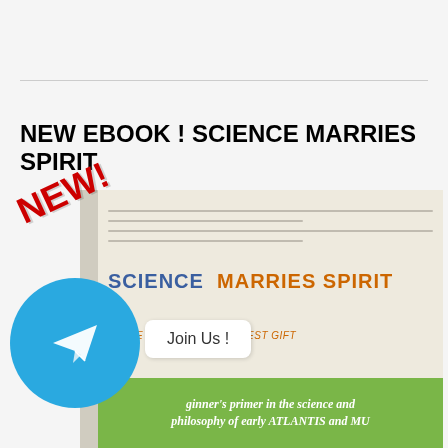NEW EBOOK ! SCIENCE MARRIES SPIRIT
[Figure (illustration): Book cover for 'Science Marries Spirit' with a red NEW! badge overlay, a Telegram messenger circle icon on the lower left, and a 'Join Us!' button. The book cover shows the title 'SCIENCE MARRIES SPIRIT' in blue and orange text, subtitle 'IS THE CREATOR'S GREATEST GIFT' in orange italics, and a green footer with italic text reading 'ginner's primer in the science and philosophy of early ATLANTIS and MU'.]